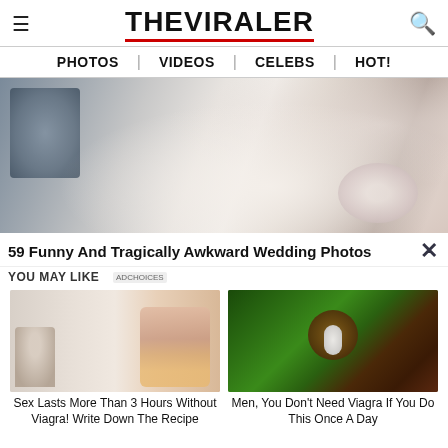THE VIRALER
PHOTOS | VIDEOS | CELEBS | HOT!
[Figure (photo): Close-up photo of a bride in white wedding dress and white lace lingerie, with a camera visible on the left side]
59 Funny And Tragically Awkward Wedding Photos
YOU MAY LIKE
[Figure (photo): Advertisement thumbnail: a doctor and a cartoon illustration of a couple]
[Figure (photo): Advertisement thumbnail: close-up of a plant or vegetable with a white object]
Sex Lasts More Than 3 Hours Without Viagra! Write Down The Recipe
Men, You Don't Need Viagra If You Do This Once A Day